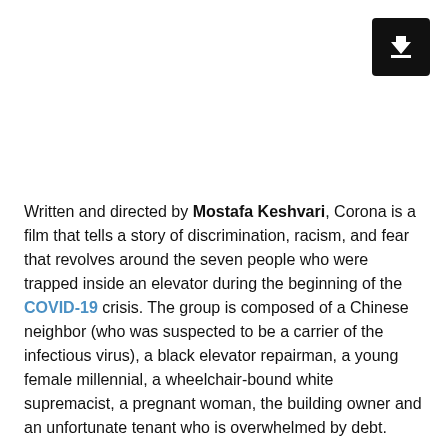[Figure (other): Black rounded-rectangle download button with white downward arrow icon, positioned top-right]
Written and directed by Mostafa Keshvari, Corona is a film that tells a story of discrimination, racism, and fear that revolves around the seven people who were trapped inside an elevator during the beginning of the COVID-19 crisis. The group is composed of a Chinese neighbor (who was suspected to be a carrier of the infectious virus), a black elevator repairman, a young female millennial, a wheelchair-bound white supremacist, a pregnant woman, the building owner and an unfortunate tenant who is overwhelmed by debt.
In an interview with The Hollywood Reporter, Keshvari tells “The idea came to me when I was in an elevator reading news about Chinese tourists being attacked, and I thought I'm going to make a movie in an elevator."